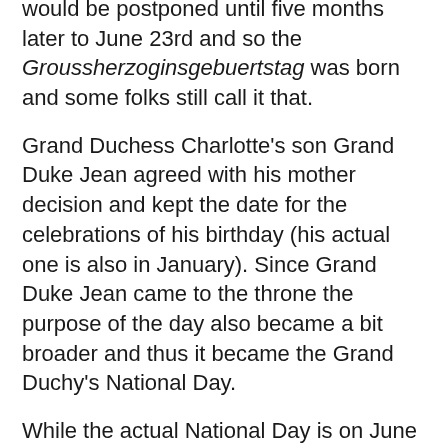would be postponed until five months later to June 23rd and so the Groussherzoginsgebuertstag was born and some folks still call it that.
Grand Duchess Charlotte's son Grand Duke Jean agreed with his mother decision and kept the date for the celebrations of his birthday (his actual one is also in January). Since Grand Duke Jean came to the throne the purpose of the day also became a bit broader and thus it became the Grand Duchy's National Day.
While the actual National Day is on June 23rd (next Saturday), much like New Year, the celebrations start the day before with concerts all over the country starting at around noon. The official celebrations kick off with the solemn changing of the guard at the palais in the afternoon hours.
Traditionally, the Grand Duke and the Grand Duchess visit a different town every year while the Hereditary Grand Duke visits the country's second largest town Esch-sur-Alzette. During the last years Prince Guillaume was either accompanied by Prince Felix or Princess Alexandra (they also made an appearance together when Guillaume wasn't